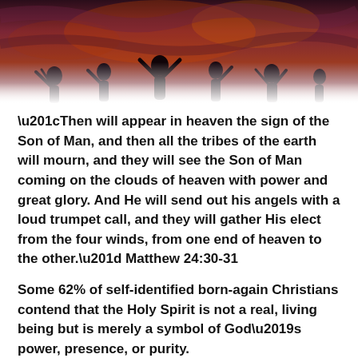[Figure (illustration): Dark dramatic painting showing silhouetted figures with raised arms against a fiery red-purple sky, suggesting an apocalyptic or spiritual scene.]
“Then will appear in heaven the sign of the Son of Man, and then all the tribes of the earth will mourn, and they will see the Son of Man coming on the clouds of heaven with power and great glory. And He will send out his angels with a loud trumpet call, and they will gather His elect from the four winds, from one end of heaven to the other.” Matthew 24:30-31
Some 62% of self-identified born-again Christians contend that the Holy Spirit is not a real, living being but is merely a symbol of God’s power, presence, or purity.